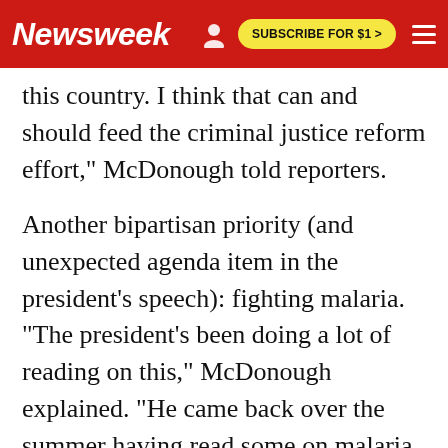Newsweek | SUBSCRIBE FOR $1 >
this country. I think that can and should feed the criminal justice reform effort," McDonough told reporters.
Another bipartisan priority (and unexpected agenda item in the president's speech): fighting malaria. "The president's been doing a lot of reading on this," McDonough explained. "He came back over the summer having read some on malaria. And he said, 'Do you know how close we are to really breaking through on malaria and beating malaria?' And I confessed